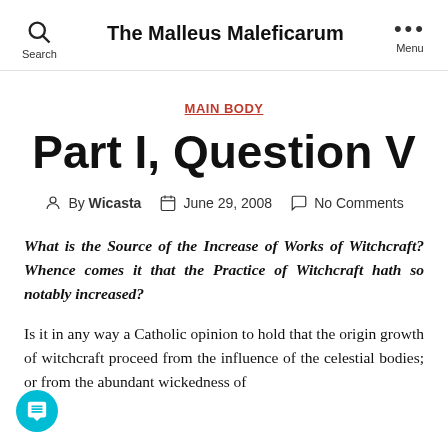The Malleus Maleficarum
MAIN BODY
Part I, Question V
By Wicasta   June 29, 2008   No Comments
What is the Source of the Increase of Works of Witchcraft? Whence comes it that the Practice of Witchcraft hath so notably increased?
Is it in any way a Catholic opinion to hold that the origin growth of witchcraft proceed from the influence of the celestial bodies; or from the abundant wickedness of